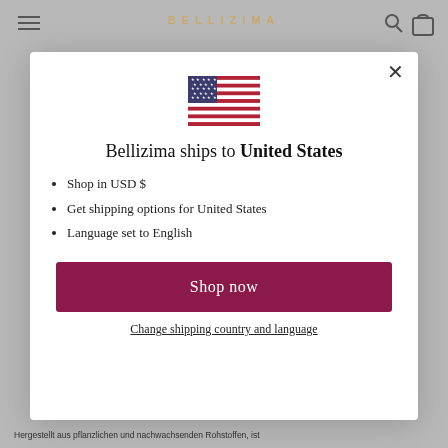[Figure (screenshot): Background of a website with gray overlay, showing the BELLIZIMA logo header, hamburger menu icon, product text SOAK WASH 375 ML at the bottom, and partial German text]
[Figure (illustration): United States flag emoji/icon centered in the modal]
Bellizima ships to United States
Shop in USD $
Get shipping options for United States
Language set to English
Shop now
Change shipping country and language